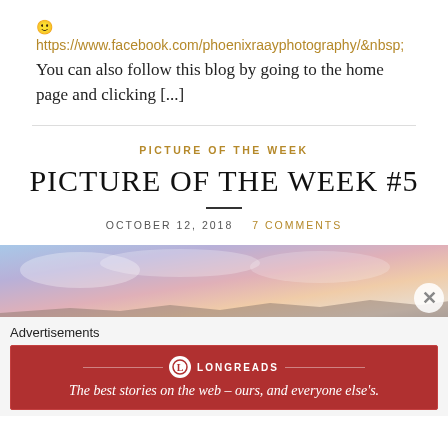🙂 https://www.facebook.com/phoenixraayphotography/&nbsp; You can also follow this blog by going to the home page and clicking [...]
PICTURE OF THE WEEK
PICTURE OF THE WEEK #5
OCTOBER 12, 2018   7 COMMENTS
[Figure (photo): Aerial or landscape photo showing sky with clouds in blue, pink and peach tones with mountains or terrain below]
Advertisements
[Figure (other): Longreads advertisement banner: red background with Longreads logo and text 'The best stories on the web – ours, and everyone else's.']